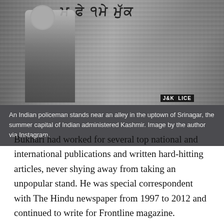[Figure (photo): Black and white photo of an Indian policeman standing near an alley in the uptown of Srinagar, with graffiti on a metal shutter behind him and a J&K Police marking visible]
An Indian policeman stands near an alley in the uptown of Srinagar, the summer capital of Indian administered Kashmir. Image by the author via Instagram.
Bukhari had worked for several top national and international publications and written hard-hitting articles, never shying away from taking an unpopular stand. He was special correspondent with The Hindu newspaper from 1997 to 2012 and continued to write for Frontline magazine.
The Press Club of India has expressed its shock and dismay over the incident in the Kashmir valley.